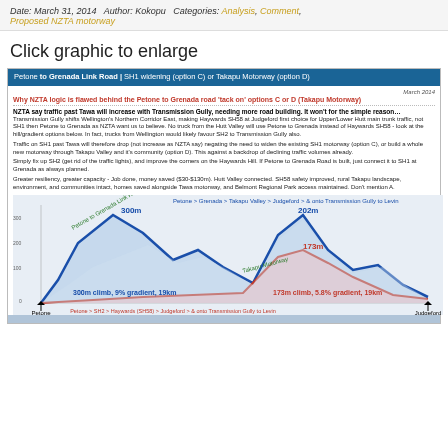Date: March 31, 2014  Author: Kokopu  Categories: Analysis, Comment, Proposed NZTA motorway
Click graphic to enlarge
[Figure (infographic): Petone to Grenada Link Road elevation profile infographic comparing SH1 widening option C via Takapu Valley (300m climb, 9% gradient, 19km) vs Takapu Motorway option D vs SH2 route via Haywards (173m climb, 5.8% gradient, 19km). Includes text explaining why NZTA logic is flawed, and an elevation cross-section chart with blue line (Petone to Grenada route) and red line (SH2 route).]